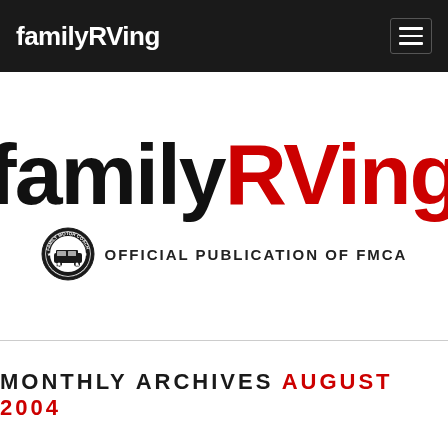familyRVing
[Figure (logo): familyRVing magazine logo with FMCA badge. Large text reads 'family' in black and 'RVing' in red. Below is the FMCA seal and text 'OFFICIAL PUBLICATION OF FMCA'.]
MONTHLY ARCHIVES AUGUST 2004